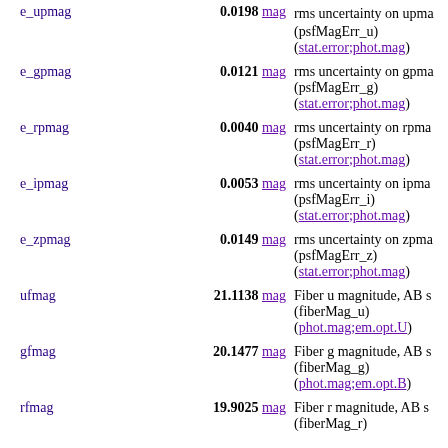| Name | Value | Description |
| --- | --- | --- |
| e_upmag | 0.0198 mag | rms uncertainty on upmag (psfMagErr_u) (stat.error;phot.mag) |
| e_gpmag | 0.0121 mag | rms uncertainty on gpmag (psfMagErr_g) (stat.error;phot.mag) |
| e_rpmag | 0.0040 mag | rms uncertainty on rpmag (psfMagErr_r) (stat.error;phot.mag) |
| e_ipmag | 0.0053 mag | rms uncertainty on ipmag (psfMagErr_i) (stat.error;phot.mag) |
| e_zpmag | 0.0149 mag | rms uncertainty on zpmag (psfMagErr_z) (stat.error;phot.mag) |
| ufmag | 21.1138 mag | Fiber u magnitude, AB s (fiberMag_u) (phot.mag;em.opt.U) |
| gfmag | 20.1477 mag | Fiber g magnitude, AB s (fiberMag_g) (phot.mag;em.opt.B) |
| rfmag | 19.9025 mag | Fiber r magnitude, AB s (fiberMag_r) |